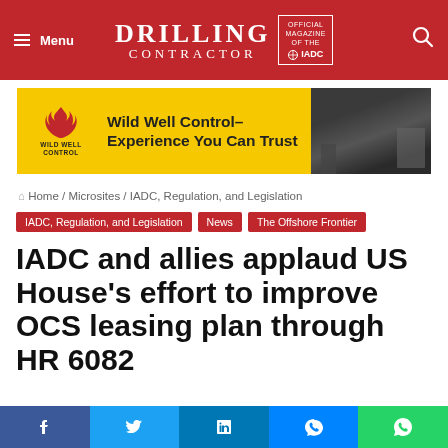DRILLING CONTRACTOR — Official Magazine of the IADC
[Figure (illustration): Wild Well Control advertisement banner: yellow background with logo on left and text 'Wild Well Control– Experience You Can Trust', dark photo of oil field on right]
Home / Microsites / IADC, Regulation, and Legislation
IADC, Regulation, and Legislation | News | The Offshore Frontier
IADC and allies applaud US House's effort to improve OCS leasing plan through HR 6082